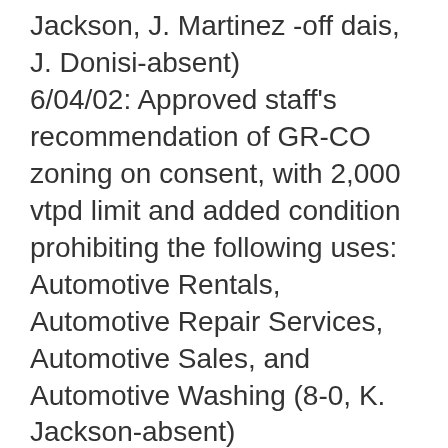Jackson, J. Martinez -off dais, J. Donisi-absent) 6/04/02: Approved staff's recommendation of GR-CO zoning on consent, with 2,000 vtpd limit and added condition prohibiting the following uses: Automotive Rentals, Automotive Repair Services, Automotive Sales, and Automotive Washing (8-0, K. Jackson-absent) 12/11/01: Approved staff's recommendation of CS-CO zoning (7-0, A. Adams-absent); the CO is for the following conditions: 1) Limit the site to Convenience Storage as the only CS use